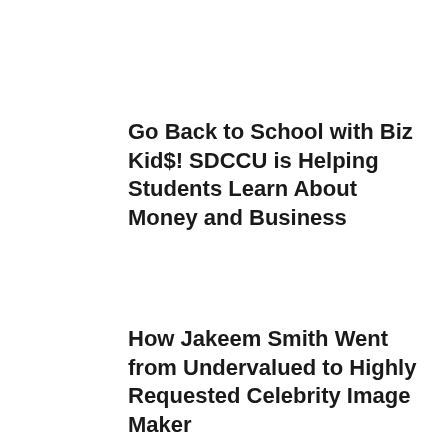Go Back to School with Biz Kid$! SDCCU is Helping Students Learn About Money and Business
How Jakeem Smith Went from Undervalued to Highly Requested Celebrity Image Maker